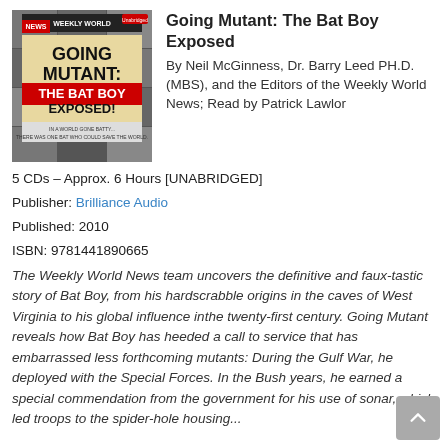[Figure (illustration): Book cover of 'Going Mutant: The Bat Boy Exposed!' — a Weekly World News publication with black and white collage of faces and red/black bold text]
Going Mutant: The Bat Boy Exposed
By Neil McGinness, Dr. Barry Leed PH.D. (MBS), and the Editors of the Weekly World News; Read by Patrick Lawlor
5 CDs – Approx. 6 Hours [UNABRIDGED]
Publisher: Brilliance Audio
Published: 2010
ISBN: 9781441890665
The Weekly World News team uncovers the definitive and faux-tastic story of Bat Boy, from his hardscrabble origins in the caves of West Virginia to his global influence inthe twenty-first century. Going Mutant reveals how Bat Boy has heeded a call to service that has embarrassed less forthcoming mutants: During the Gulf War, he deployed with the Special Forces. In the Bush years, he earned a special commendation from the government for his use of sonar, which led troops to the spider-hole housing...